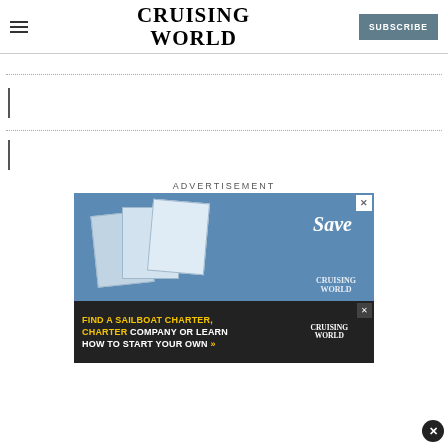CRUISING WORLD | SUBSCRIBE
[Figure (screenshot): Cruising World website screenshot showing logo, hamburger menu, subscribe button, dotted separator lines, vertical bar accents, and advertisement section with magazine covers and sailboat charter banner ad]
ADVERTISEMENT
[Figure (infographic): Advertisement banner: FIND A SAILBOAT CHARTER, CHARTER COMPANY OR LEARN HOW TO START YOUR OWN with Cruising World logo and magazine covers. Bottom overlay banner ad with same text.]